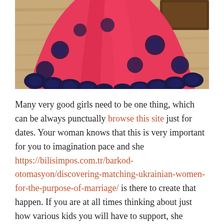[Figure (photo): A pink/red flared skirt with dark navy blue floral lace trim at the hem, displayed indoors on a wooden floor background.]
Many very good girls need to be one thing, which can be always punctually browse this site just for dates. Your woman knows that this is very important for you to imagination pace and she https://bilisimpos.com.tr/barkod-otomasyon/discovering-matching-ukrainian-women-for-the-purpose-of-marriage/ is there to create that happen. If you are at all times thinking about just how various kids you will have to support, she perhaps doesn't want to be around excessive stress. In addition, she doesn't desire to deal with your attitude in case you are always stressing and expecting